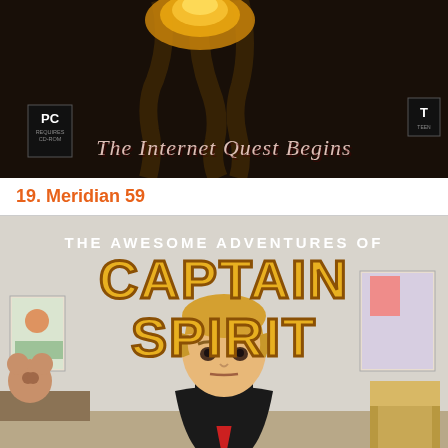[Figure (photo): PC game cover image with dark background showing 'The Internet Quest Begins' text and a rating label]
19. Meridian 59
[Figure (photo): Game cover art for 'The Awesome Adventures of Captain Spirit' showing a young blonde boy in a superhero cape standing in a bedroom with drawings on the walls]